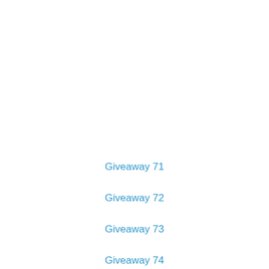Giveaway 71
Giveaway 72
Giveaway 73
Giveaway 74